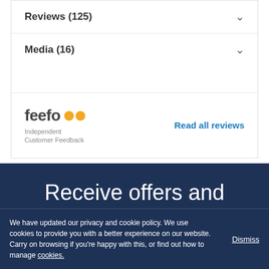Reviews (125)
Media (16)
[Figure (logo): Feefo logo with two orange circular eye icons and tagline 'Independent Customer Feedback']
Read all reviews
Receive offers and news by email
We have updated our privacy and cookie policy. We use cookies to provide you with a better experience on our website. Carry on browsing if you're happy with this, or find out how to manage cookies.
Dismiss